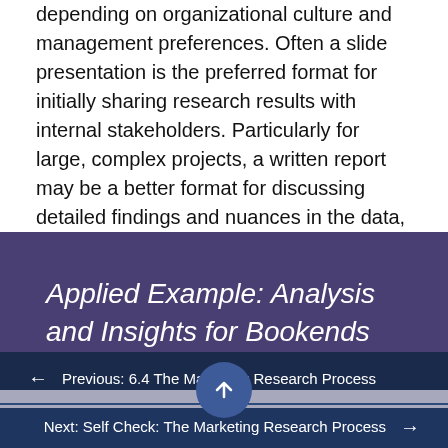depending on organizational culture and management preferences. Often a slide presentation is the preferred format for initially sharing research results with internal stakeholders. Particularly for large, complex projects, a written report may be a better format for discussing detailed findings and nuances in the data, which managers can study and reference in the future.
Applied Example: Analysis and Insights for Bookends
← Previous: 6.4 The Marketing Research Process
Next: Self Check: The Marketing Research Process →